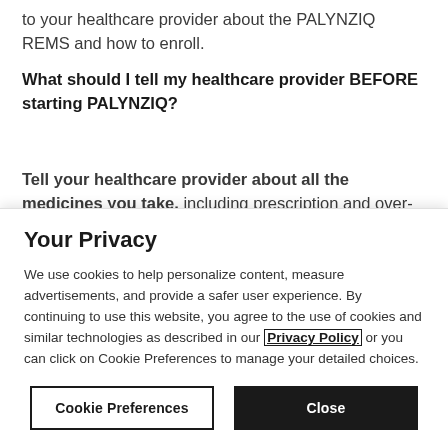to your healthcare provider about the PALYNZIQ REMS and how to enroll.
What should I tell my healthcare provider BEFORE starting PALYNZIQ?
Tell your healthcare provider about all the medicines you take, including prescription and over-the-counter medicines, vitamins, and herbal
Your Privacy
We use cookies to help personalize content, measure advertisements, and provide a safer user experience. By continuing to use this website, you agree to the use of cookies and similar technologies as described in our Privacy Policy or you can click on Cookie Preferences to manage your detailed choices.
Cookie Preferences
Close